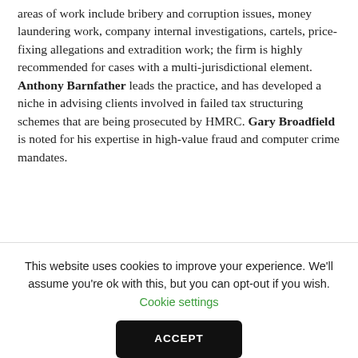areas of work include bribery and corruption issues, money laundering work, company internal investigations, cartels, price-fixing allegations and extradition work; the firm is highly recommended for cases with a multi-jurisdictional element. Anthony Barnfather leads the practice, and has developed a niche in advising clients involved in failed tax structuring schemes that are being prosecuted by HMRC. Gary Broadfield is noted for his expertise in high-value fraud and computer crime mandates.
Practice head(s): Anthony Barnfather
This website uses cookies to improve your experience. We'll assume you're ok with this, but you can opt-out if you wish. Cookie settings ACCEPT